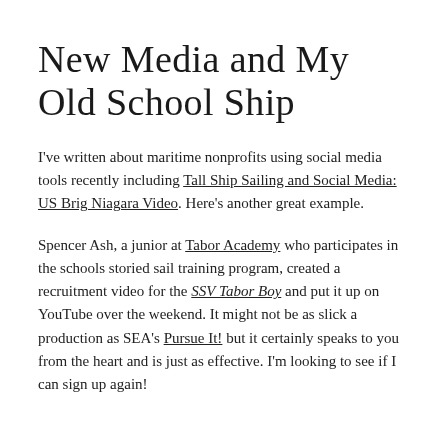New Media and My Old School Ship
I've written about maritime nonprofits using social media tools recently including Tall Ship Sailing and Social Media: US Brig Niagara Video. Here's another great example.
Spencer Ash, a junior at Tabor Academy who participates in the schools storied sail training program, created a recruitment video for the SSV Tabor Boy and put it up on YouTube over the weekend. It might not be as slick a production as SEA's Pursue It! but it certainly speaks to you from the heart and is just as effective. I'm looking to see if I can sign up again!